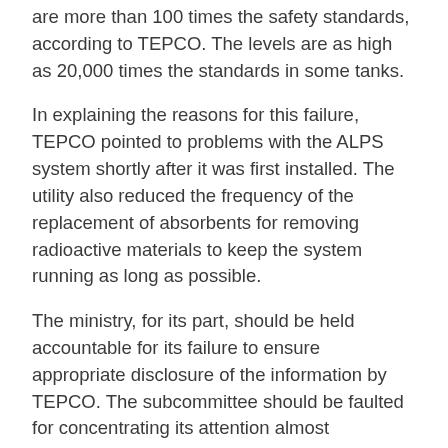are more than 100 times the safety standards, according to TEPCO. The levels are as high as 20,000 times the standards in some tanks.
In explaining the reasons for this failure, TEPCO pointed to problems with the ALPS system shortly after it was first installed. The utility also reduced the frequency of the replacement of absorbents for removing radioactive materials to keep the system running as long as possible.
The ministry, for its part, should be held accountable for its failure to ensure appropriate disclosure of the information by TEPCO. The subcommittee should be faulted for concentrating its attention almost exclusively on tritium.
Article:
http://www.asahi.com/ajw/articles/AJ201810090025.html